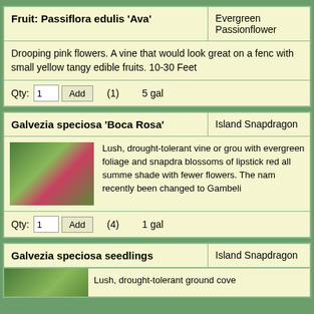| Product Name | Common Name |
| --- | --- |
| Fruit: Passiflora edulis 'Ava' | Evergreen Passionflower |
| Drooping pink flowers. A vine that would look great on a fence with small yellow tangy edible fruits. 10-30 Feet |  |
| Qty: 1  Add  (1)  5 gal |  |
| Product Name | Common Name |
| --- | --- |
| Galvezia speciosa 'Boca Rosa' | Island Snapdragon |
| [image] Lush, drought-tolerant vine or ground cover with evergreen foliage and snapdragon blossoms of lipstick red all summer. Tolerates shade with fewer flowers. The name has recently been changed to Gambeli... |  |
| Qty: 1  Add  (4)  1 gal |  |
| Product Name | Common Name |
| --- | --- |
| Galvezia speciosa seedlings | Island Snapdragon |
| [image] Lush, drought-tolerant ground cove... |  |